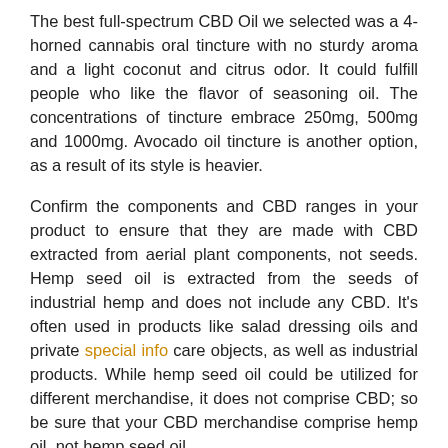The best full-spectrum CBD Oil we selected was a 4-horned cannabis oral tincture with no sturdy aroma and a light coconut and citrus odor. It could fulfill people who like the flavor of seasoning oil. The concentrations of tincture embrace 250mg, 500mg and 1000mg. Avocado oil tincture is another option, as a result of its style is heavier.
Confirm the components and CBD ranges in your product to ensure that they are made with CBD extracted from aerial plant components, not seeds. Hemp seed oil is extracted from the seeds of industrial hemp and does not include any CBD. It's often used in products like salad dressing oils and private special info care objects, as well as industrial products. While hemp seed oil could be utilized for different merchandise, it does not comprise CBD; so be sure that your CBD merchandise comprise hemp oil, not hemp seed oil.